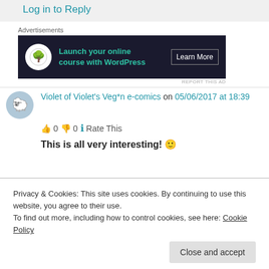Log in to Reply
[Figure (infographic): Advertisement banner: dark background, bonsai tree icon, text 'Launch your online course with WordPress', 'Learn More' button]
Violet of Violet's Veg*n e-comics on 05/06/2017 at 18:39
👍 0 👎 0 ℹ Rate This
This is all very interesting! 🙂
Privacy & Cookies: This site uses cookies. By continuing to use this website, you agree to their use. To find out more, including how to control cookies, see here: Cookie Policy
Didis Art Design on 06/06/2017 at 04:08